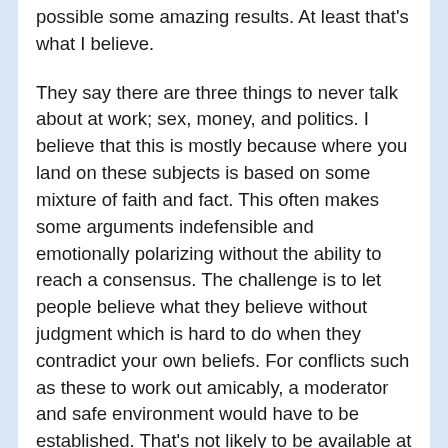possible some amazing results. At least that's what I believe.
They say there are three things to never talk about at work; sex, money, and politics. I believe that this is mostly because where you land on these subjects is based on some mixture of faith and fact. This often makes some arguments indefensible and emotionally polarizing without the ability to reach a consensus. The challenge is to let people believe what they believe without judgment which is hard to do when they contradict your own beliefs. For conflicts such as these to work out amicably, a moderator and safe environment would have to be established. That's not likely to be available at your workplace or local watering hole.